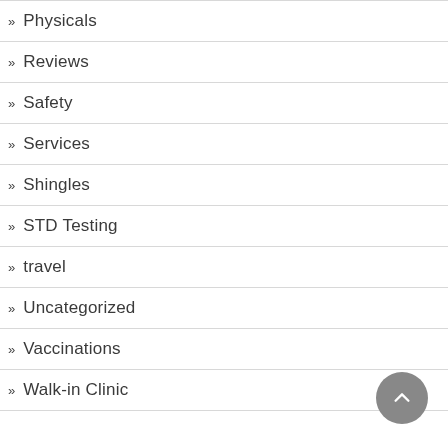Physicals
Reviews
Safety
Services
Shingles
STD Testing
travel
Uncategorized
Vaccinations
Walk-in Clinic